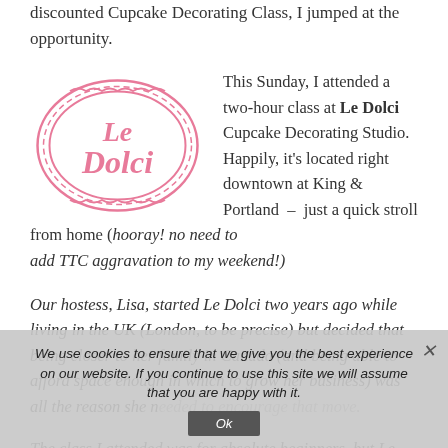discounted Cupcake Decorating Class, I jumped at the opportunity.
[Figure (logo): Le Dolci oval logo in pink with scalloped border and cursive text]
This Sunday, I attended a two-hour class at Le Dolci Cupcake Decorating Studio. Happily, it's located right downtown at King & Portland – just a quick stroll from home (hooray! no need to add TTC aggravation to my weekend!)
Our hostess, Lisa, started Le Dolci two years ago while living in the UK (London, to be precise) but decided that being closer to her family in Canada (and being able to afford space enough in which to grow her business) was all the reason she needed to encourage that move.
The class I attended was for absolute beginners, but Le Dolci hosts a number of classes featuring a wide array of themes and varying degrees of difficulty. (I'm hazarding a guess that
We use cookies to ensure that we give you the best experience on our website. If you continue to use this site we will assume that you are happy with it.